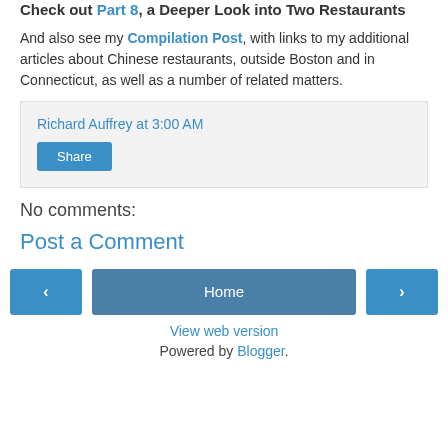Check out Part 8, a Deeper Look into Two Restaurants
And also see my Compilation Post, with links to my additional articles about Chinese restaurants, outside Boston and in Connecticut, as well as a number of related matters.
Richard Auffrey at 3:00 AM
Share
No comments:
Post a Comment
Home
View web version
Powered by Blogger.